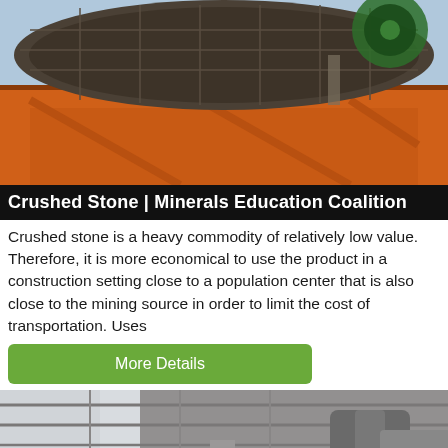[Figure (photo): Industrial mining equipment - orange metal frame with cylindrical wire mesh drum/screen, photographed from below against a blue sky]
Crushed Stone | Minerals Education Coalition
Crushed stone is a heavy commodity of relatively low value. Therefore, it is more economical to use the product in a construction setting close to a population center that is also close to the mining source in order to limit the cost of transportation. Uses
More Details
[Figure (photo): Interior of a mining or industrial facility with large cylindrical machinery, pipes, and industrial equipment inside a metal-roofed building. A blue circular chat button with ellipsis icon is overlaid in the bottom-right corner.]